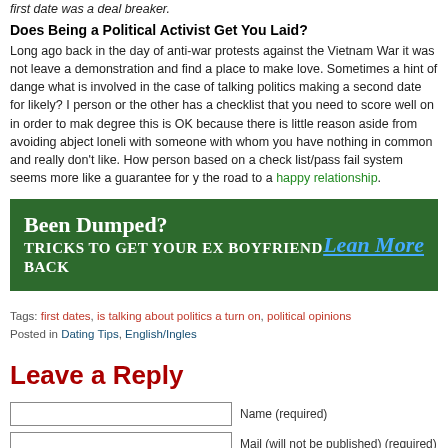first date was a deal breaker.
Does Being a Political Activist Get You Laid?
Long ago back in the day of anti-war protests against the Vietnam War it was not uncommon to leave a demonstration and find a place to make love. Sometimes a hint of danger... what is involved in the case of talking politics making a second date for likely? In person or the other has a checklist that you need to score well on in order to make... degree this is OK because there is little reason aside from avoiding abject loneliness with someone with whom you have nothing in common and really don't like. However, person based on a check list/pass fail system seems more like a guarantee for yo... the road to a happy relationship.
[Figure (infographic): Green advertisement banner: BEEN DUMPED? TRICKS TO GET YOUR EX BOYFRIEND BACK with 'Lean More' link on right]
Tags: first dates, is talking about politics a turn on, political opinions
Posted in Dating Tips, English/Ingles
Leave a Reply
Name (required) input field
Mail (will not be published) (required) input field